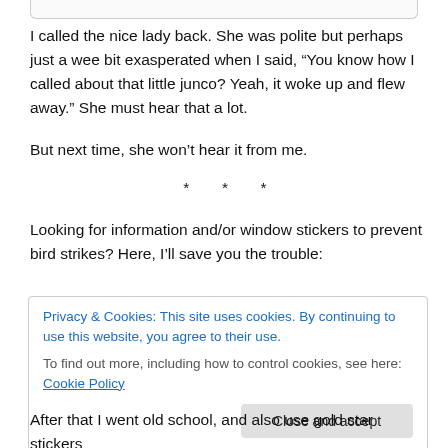I called the nice lady back. She was polite but perhaps just a wee bit exasperated when I said, “You know how I called about that little junco? Yeah, it woke up and flew away.” She must hear that a lot.
But next time, she won’t hear it from me.
* * *
Looking for information and/or window stickers to prevent bird strikes? Here, I’ll save you the trouble:
Privacy & Cookies: This site uses cookies. By continuing to use this website, you agree to their use.
To find out more, including how to control cookies, see here: Cookie Policy
Close and accept
After that I went old school, and also use gold star stickers